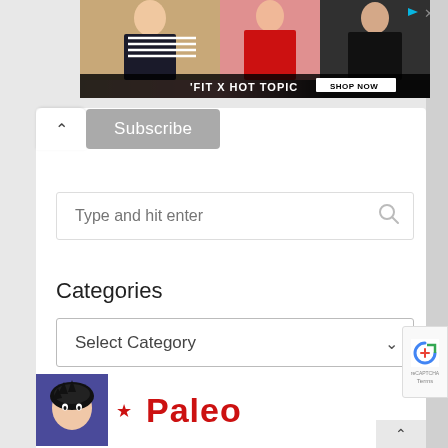[Figure (screenshot): Advertisement banner showing three people posing, with text 'FIT X HOT TOPIC' and 'SHOP NOW' button on dark background]
Subscribe
Type and hit enter
Categories
Select Category
[Figure (logo): Paleo website logo with cartoon character and red star, text 'Paleo' in red]